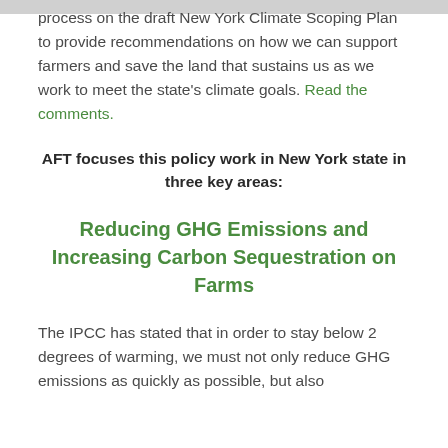process on the draft New York Climate Scoping Plan to provide recommendations on how we can support farmers and save the land that sustains us as we work to meet the state's climate goals. Read the comments.
AFT focuses this policy work in New York state in three key areas:
Reducing GHG Emissions and Increasing Carbon Sequestration on Farms
The IPCC has stated that in order to stay below 2 degrees of warming, we must not only reduce GHG emissions as quickly as possible, but also